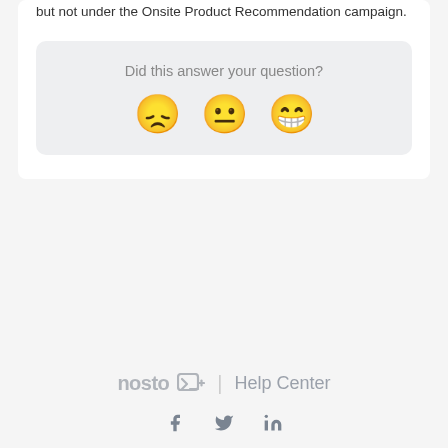but not under the Onsite Product Recommendation campaign.
[Figure (infographic): Feedback widget with question 'Did this answer your question?' and three emoji faces: disappointed, neutral, and happy.]
nosto Help Center — social icons: Facebook, Twitter, LinkedIn